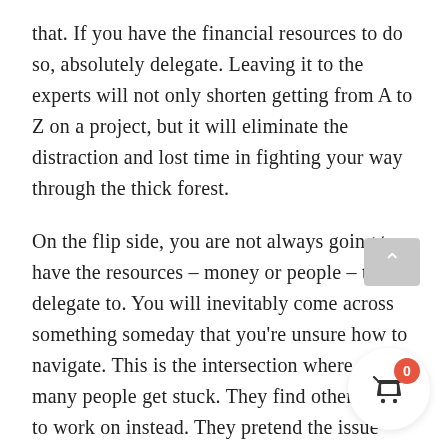that. If you have the financial resources to do so, absolutely delegate. Leaving it to the experts will not only shorten getting from A to Z on a project, but it will eliminate the distraction and lost time in fighting your way through the thick forest.
On the flip side, you are not always going to have the resources – money or people – to delegate to. You will inevitably come across something someday that you're unsure how to navigate. This is the intersection where so many people get stuck. They find other things to work on instead. They pretend the issue isn't there. They tell others they cannot do the work, fix the issue, or proceed any further because it's something they don't do as well or haven't done at all.